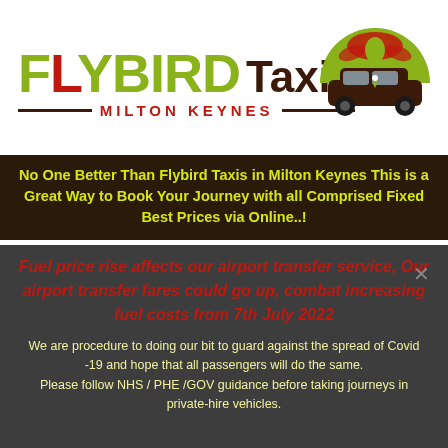[Figure (logo): Flybird Taxis Milton Keynes logo with green text FLYBIRD, dark brown Taxis, red MILTON KEYNES subtitle, decorative lines, and a green semicircle with a dark car and phoenix emblem]
No One Better Than Flybird Taxis in Milton Keynes This is a Great Way to Book Your Journey with all Comprised Fixed Best Prices via Online..!
Fuel price rise affects our airport transfer service, Our airport transfer fares could go up, combat increasing fuel costs from 7th July 2022
We are procedure to doing our bit to guard against the spread of Covid -19 and hope that all passengers will do the same. Please follow NHS / PHE /GOV guidance before taking journeys in private-hire vehicles.